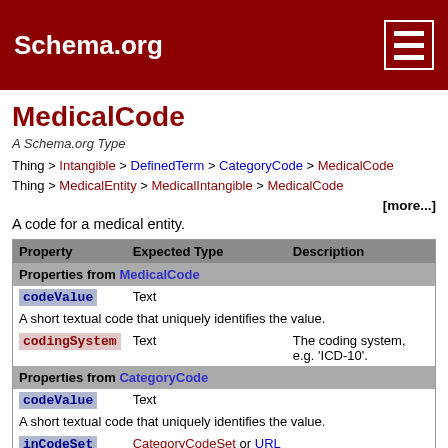Schema.org
MedicalCode
A Schema.org Type
Thing > Intangible > DefinedTerm > CategoryCode > MedicalCode
Thing > MedicalEntity > MedicalIntangible > MedicalCode
[more...]
A code for a medical entity.
| Property | Expected Type | Description |
| --- | --- | --- |
| Properties from MedicalCode |  |  |
| codeValue | Text | A short textual code that uniquely identifies the value. |
| codingSystem | Text | The coding system, e.g. 'ICD-10'. |
| Properties from CategoryCode |  |  |
| codeValue | Text | A short textual code that uniquely identifies the value. |
| inCodeSet | CategoryCodeSet or URL | A CategoryCodeSet that contains this category code. |